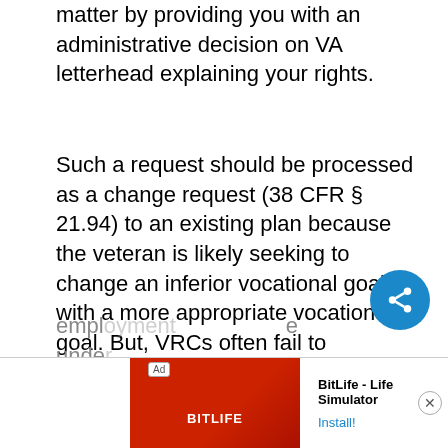matter by providing you with an administrative decision on VA letterhead explaining your rights.
Such a request should be processed as a change request (38 CFR § 21.94) to an existing plan because the veteran is likely seeking to change an inferior vocational goal with a more appropriate vocational goal. But, VRCs often fail to adjudicate the matter, at all.
If they do adjudicate it, the VRC might adjudicate it as if the veteran was simply seeking additional training as part of a new claim. The error is th[en] compounded by a finding the veteran is qualifi[ed f]or empl[oyment] unde[r ...]